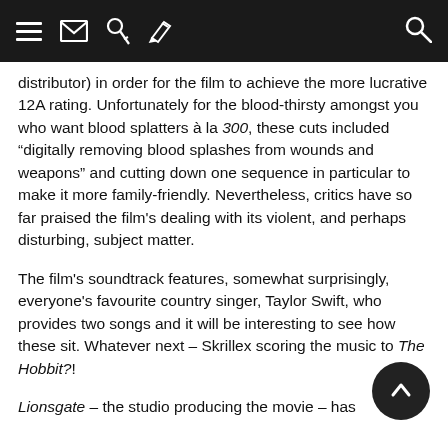[navigation bar with hamburger menu, mail, key, pencil, and search icons]
distributor) in order for the film to achieve the more lucrative 12A rating. Unfortunately for the blood-thirsty amongst you who want blood splatters à la 300, these cuts included “digitally removing blood splashes from wounds and weapons” and cutting down one sequence in particular to make it more family-friendly. Nevertheless, critics have so far praised the film's dealing with its violent, and perhaps disturbing, subject matter.
The film's soundtrack features, somewhat surprisingly, everyone's favourite country singer, Taylor Swift, who provides two songs and it will be interesting to see how these sit. Whatever next – Skrillex scoring the music to The Hobbit?!
Lionsgate – the studio producing the movie – has